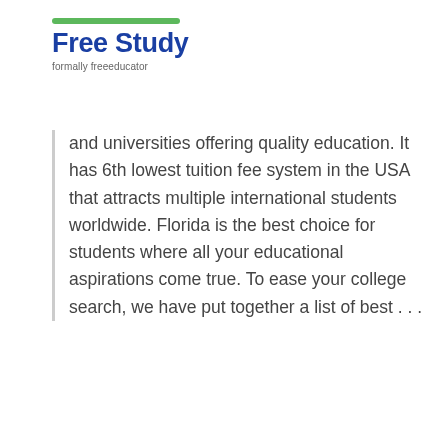Free Study — formally freeeducator
and universities offering quality education. It has 6th lowest tuition fee system in the USA that attracts multiple international students worldwide. Florida is the best choice for students where all your educational aspirations come true. To ease your college search, we have put together a list of best . . .
Read More